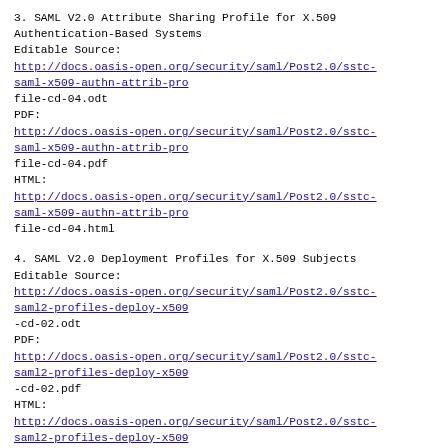3. SAML V2.0 Attribute Sharing Profile for X.509 Authentication-Based Systems
Editable Source:
http://docs.oasis-open.org/security/saml/Post2.0/sstc-saml-x509-authn-attrib-pro
file-cd-04.odt
PDF:
http://docs.oasis-open.org/security/saml/Post2.0/sstc-saml-x509-authn-attrib-pro
file-cd-04.pdf
HTML:
http://docs.oasis-open.org/security/saml/Post2.0/sstc-saml-x509-authn-attrib-pro
file-cd-04.html
4. SAML V2.0 Deployment Profiles for X.509 Subjects
Editable Source:
http://docs.oasis-open.org/security/saml/Post2.0/sstc-saml2-profiles-deploy-x509
-cd-02.odt
PDF:
http://docs.oasis-open.org/security/saml/Post2.0/sstc-saml2-profiles-deploy-x509
-cd-02.pdf
HTML:
http://docs.oasis-open.org/security/saml/Post2.0/sstc-saml2-profiles-deploy-x509
-cd-02.html
Schema: